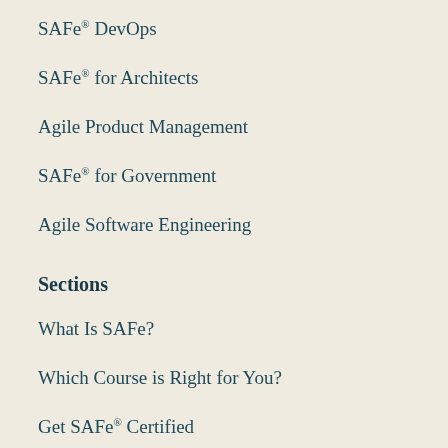SAFe® DevOps
SAFe® for Architects
Agile Product Management
SAFe® for Government
Agile Software Engineering
Sections
What Is SAFe?
Which Course is Right for You?
Get SAFe® Certified